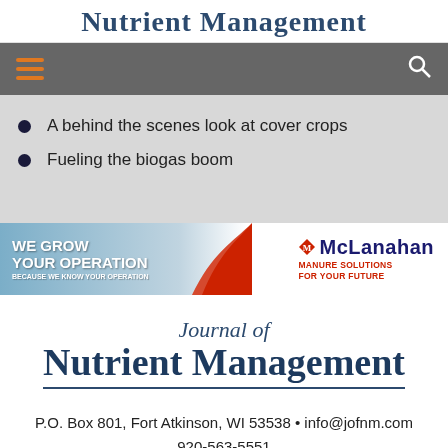Nutrient Management
[Figure (screenshot): Navigation bar with hamburger menu icon (orange lines) on left and search icon on right, gray background]
A behind the scenes look at cover crops
Fueling the biogas boom
[Figure (illustration): McLanahan advertisement banner: 'We Grow Your Operation Because We Know Your Operation' with equipment image and McLanahan Manure Solutions For Your Future branding]
Journal of Nutrient Management
P.O. Box 801, Fort Atkinson, WI 53538 • info@jofnm.com
920-563-5551